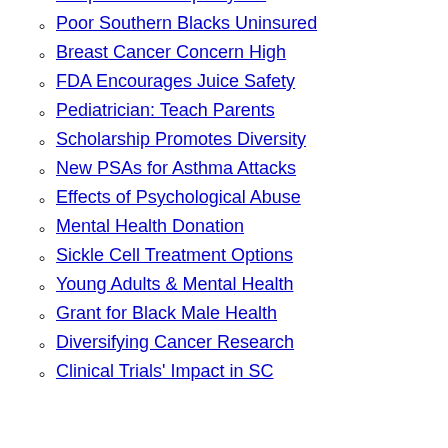Peripheral Neuropathy Aid
Poor Southern Blacks Uninsured
Breast Cancer Concern High
FDA Encourages Juice Safety
Pediatrician: Teach Parents
Scholarship Promotes Diversity
New PSAs for Asthma Attacks
Effects of Psychological Abuse
Mental Health Donation
Sickle Cell Treatment Options
Young Adults & Mental Health
Grant for Black Male Health
Diversifying Cancer Research
Clinical Trials' Impact in SC